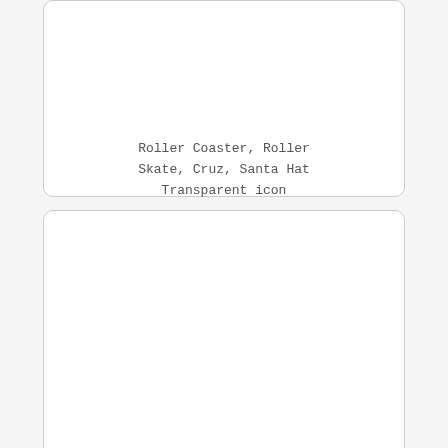[Figure (illustration): Card with empty white image area at top]
Roller Coaster, Roller Skate, Cruz, Santa Hat Transparent icon
[Figure (illustration): Card with empty white image area at top]
Roller Skate, Paint Roller, Roller Coaster, Lines icon
[Figure (illustration): Card with empty white image area, partially visible at bottom]